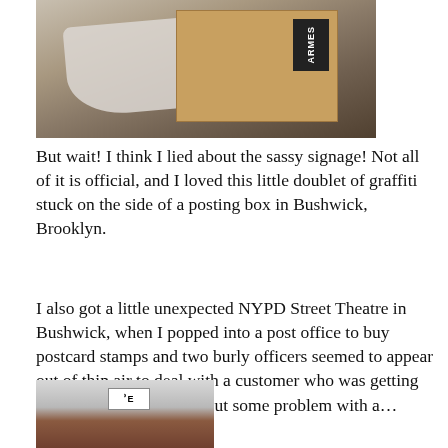[Figure (photo): Photo of cardboard box and white fabric/bag, with a black label reading 'ARMES' visible on the right side]
But wait! I think I lied about the sassy signage! Not all of it is official, and I loved this little doublet of graffiti stuck on the side of a posting box in Bushwick, Brooklyn.
I also got a little unexpected NYPD Street Theatre in Bushwick, when I popped into a post office to buy postcard stamps and two burly officers seemed to appear out of thin air to deal with a customer who was getting stroppy with the staff about some problem with a… thing.
God knows. But they dealt with it with the kind of calm sternness one associates with the gruffer kind of primary school teacher, and nobody got shot. (I suspect I watch waaaaaay too many crime shows…)
[Figure (photo): Bottom partial photo of a building with a sign, brick wall visible at bottom]